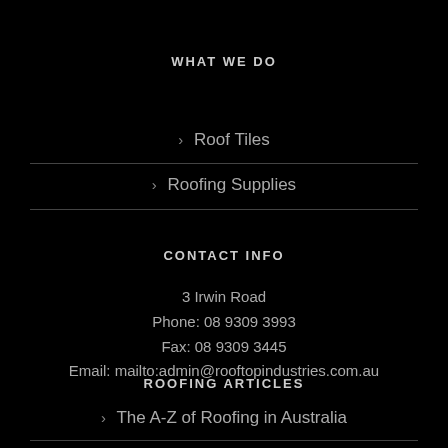WHAT WE DO
> Roof Tiles
> Roofing Supplies
CONTACT INFO
3 Irwin Road
Phone: 08 9309 3993
Fax: 08 9309 3445
Email: mailto:admin@rooftopindustries.com.au
ROOFING ARTICLES
> The A-Z of Roofing in Australia